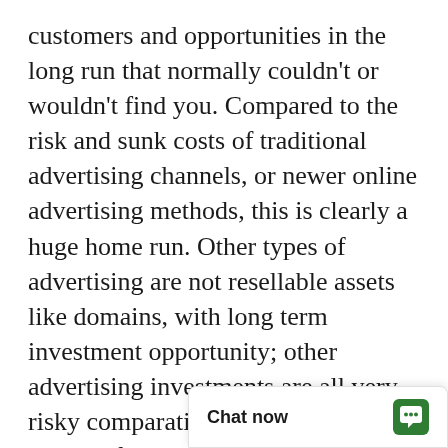customers and opportunities in the long run that normally couldn't or wouldn't find you. Compared to the risk and sunk costs of traditional advertising channels, or newer online advertising methods, this is clearly a huge home run. Other types of advertising are not resellable assets like domains, with long term investment opportunity; other advertising investments are all very risky comparatively, and are mostly wasted if you think about it.
First come, first served. Don't miss this once in a lifetime opportunity to be #1. The first person or company to secure WestCoastFinancialGroup.com from this site can control it forever, to the exclusion of all others. It will become out of our control. Get it first; and get ranked first in Google! All that matters online is Location Loc[ation] Your Location! and br[…]
Chat now